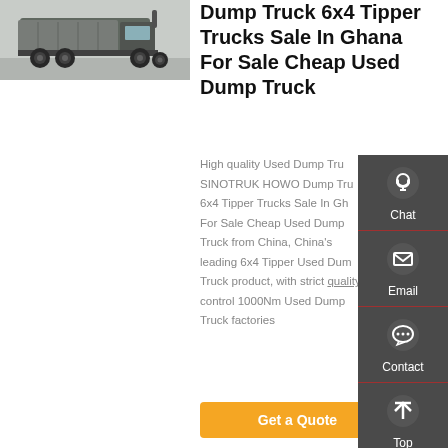[Figure (photo): Photo of a dump truck / tipper truck viewed from rear-side angle, parked on a paved surface.]
Dump Truck 6x4 Tipper Trucks Sale In Ghana For Sale Cheap Used Dump Truck
High quality Used Dump Truck SINOTRUK HOWO Dump Truck 6x4 Tipper Trucks Sale In Ghana For Sale Cheap Used Dump Truck from China, China's leading 6x4 Tipper Used Dump Truck product, with strict quality control 1000Nm Used Dump Truck factories